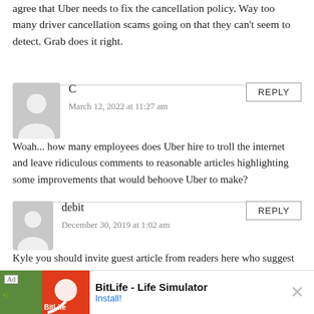agree that Uber needs to fix the cancellation policy. Way too many driver cancellation scams going on that they can't seem to detect. Grab does it right.
C
March 12, 2022 at 11:27 am
Woah... how many employees does Uber hire to troll the internet and leave ridiculous comments to reasonable articles highlighting some improvements that would behoove Uber to make?
debit
December 30, 2019 at 1:02 am
Kyle you should invite guest article from readers here who suggest they ignore how the tech works and why it can't be updated or what should be updated.
[Figure (other): BitLife - Life Simulator advertisement banner with game artwork and Install button]